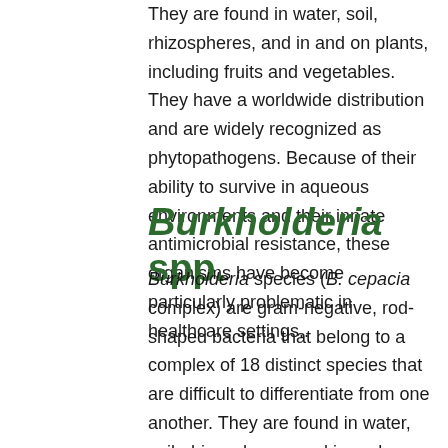They are found in water, soil, rhizospheres, and in and on plants, including fruits and vegetables. They have a worldwide distribution and are widely recognized as phytopathogens. Because of their ability to survive in aqueous environments and their innate antimicrobial resistance, these organisms have become particularly problematic in healthcare settings..
Burkholderia spp.
Burkholderia species (B. cepacia complex) are gram-negative, rod-shaped bacteria that belong to a complex of 18 distinct species that are difficult to differentiate from one another. They are found in water, soil, rhizospheres, and in and on plants, including fruits and vegetables. They have a worldwide distribution and are widely recognized as phytopathogens. Because of their ability to survive in aqueous environments and their innate antimicrobial resistance, these organisms have become particularly problematic in healthcare settings..